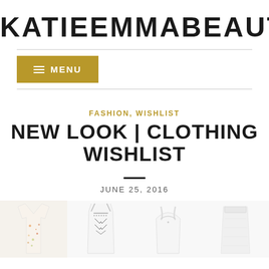KATIEEMMABEAUTY
FASHION, WISHLIST
NEW LOOK | CLOTHING WISHLIST
JUNE 25, 2016
[Figure (photo): Four clothing items in a row: floral shirt, embroidered camisole, white backpack-style top, white skirt]